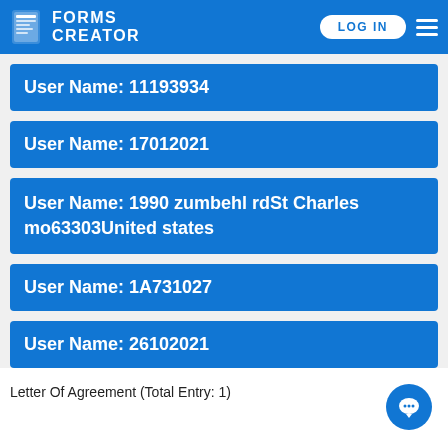FORMS CREATOR | LOG IN
User Name: 11193934
User Name: 17012021
User Name: 1990 zumbehl rdSt Charles mo63303United states
User Name: 1A731027
User Name: 26102021
Letter Of Agreement (Total Entry: 1)